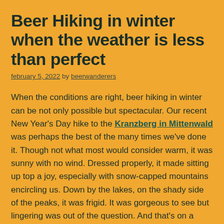Beer Hiking in winter when the weather is less than perfect
february 5, 2022 by beerwanderers
When the conditions are right, beer hiking in winter can be not only possible but spectacular. Our recent New Year's Day hike to the Kranzberg in Mittenwald was perhaps the best of the many times we've done it. Though not what most would consider warm, it was sunny with no wind. Dressed properly, it made sitting up top a joy, especially with snow-capped mountains encircling us. Down by the lakes, on the shady side of the peaks, it was frigid. It was gorgeous to see but lingering was out of the question. And that's on a good